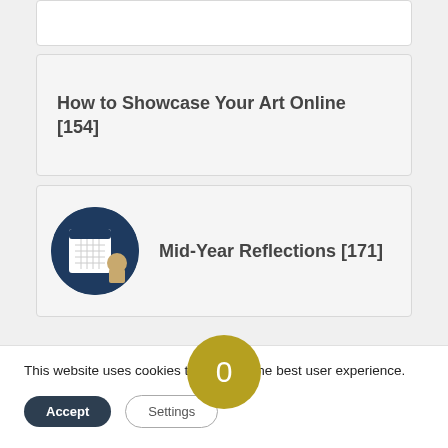How to Showcase Your Art Online [154]
Mid-Year Reflections [171]
0 REPLIES
Leave a Reply
This website uses cookies to give you the best user experience.